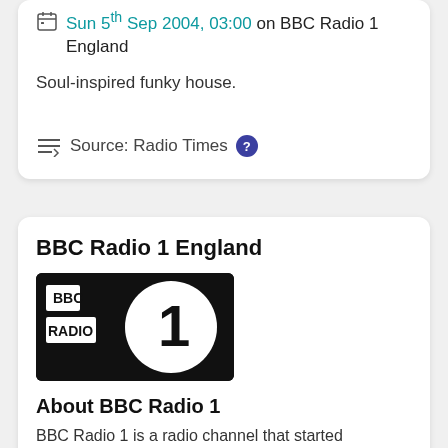Sun 5th Sep 2004, 03:00 on BBC Radio 1 England
Soul-inspired funky house.
Source: Radio Times
BBC Radio 1 England
[Figure (logo): BBC Radio 1 logo — black background with BBC RADIO text on left and large white circle with numeral 1 on right]
About BBC Radio 1
BBC Radio 1 is a radio channel that started